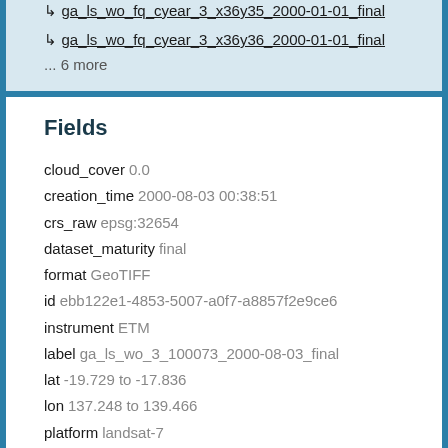↳ ga_ls_wo_fq_cyear_3_x36y35_2000-01-01_final
↳ ga_ls_wo_fq_cyear_3_x36y36_2000-01-01_final
... 6 more
Fields
cloud_cover 0.0
creation_time 2000-08-03 00:38:51
crs_raw epsg:32654
dataset_maturity final
format GeoTIFF
id ebb122e1-4853-5007-a0f7-a8857f2e9ce6
instrument ETM
label ga_ls_wo_3_100073_2000-08-03_final
lat -19.729 to -17.836
lon 137.248 to 139.466
platform landsat-7